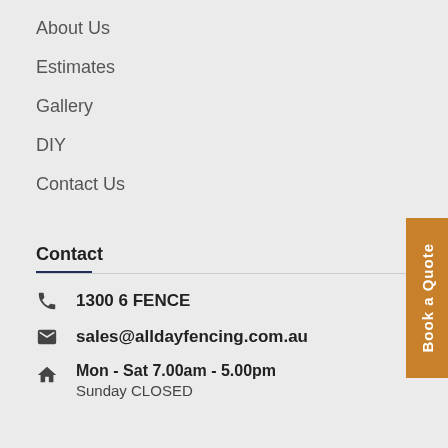About Us
Estimates
Gallery
DIY
Contact Us
Contact
1300 6 FENCE
sales@alldayfencing.com.au
Mon - Sat 7.00am - 5.00pm
Sunday CLOSED
Book a Quote